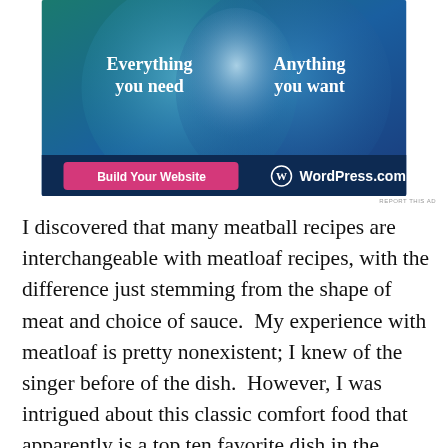[Figure (infographic): WordPress.com advertisement showing two overlapping circles (Venn diagram style) on a blue/teal gradient background. Left circle text: 'Everything you need'. Right circle text: 'Anything you want'. Pink button: 'Build Your Website'. WordPress.com logo on the right.]
REPORT THIS AD
I discovered that many meatball recipes are interchangeable with meatloaf recipes, with the difference just stemming from the shape of meat and choice of sauce.  My experience with meatloaf is pretty nonexistent; I knew of the singer before of the dish.  However, I was intrigued about this classic comfort food that apparently is a top ten favorite dish in the USA.  This dish traces its origins back to Roman Empire days in the 5th century